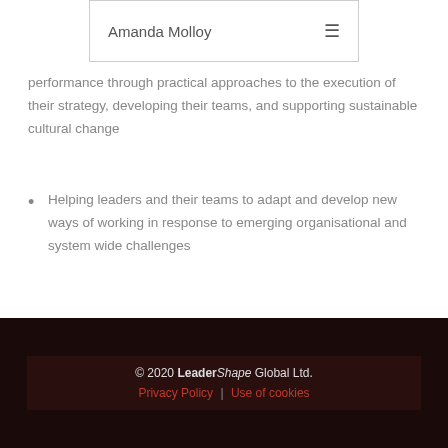Amanda Molloy
performance through practical approaches to the execution of their strategy, developing their teams, and supporting sustainable cultural change
Helping leaders and their teams to adapt and develop new ways of working in response to emerging organisational and system wide challenges
© 2020 LeaderShape Global Ltd. | Privacy Policy | Use of cookies